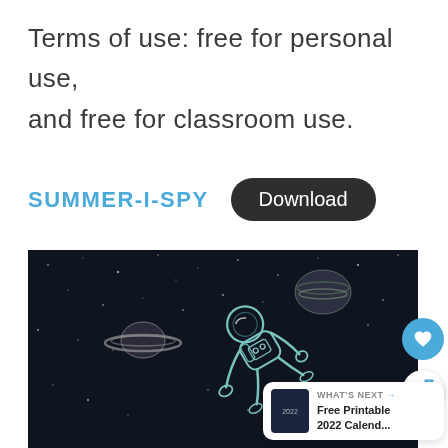Terms of use: free for personal use, and free for classroom use.
SUMMER-I-SPY   Download
[Figure (illustration): Dark space scene illustration with an astronaut floating, Saturn-like planet with rings, a gas giant planet, and stars scattered across a dark blue-black background.]
WHAT'S NEXT → Free Printable 2022 Calend...